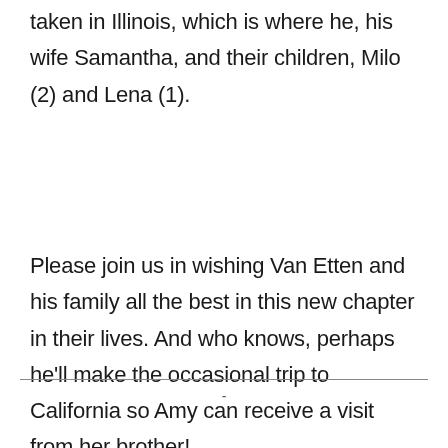taken in Illinois, which is where he, his wife Samantha, and their children, Milo (2) and Lena (1).
Please join us in wishing Van Etten and his family all the best in this new chapter in their lives. And who knows, perhaps he'll make the occasional trip to California so Amy can receive a visit from her brother!